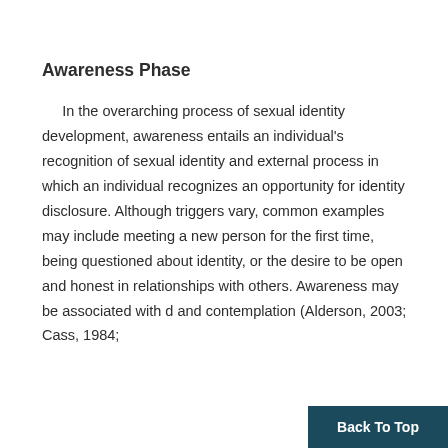Awareness Phase
In the overarching process of sexual identity development, awareness entails an individual's recognition of sexual identity and external process in which an individual recognizes an opportunity for identity disclosure. Although triggers vary, common examples may include meeting a new person for the first time, being questioned about identity, or the desire to be open and honest in relationships with others. Awareness may be associated with d and contemplation (Alderson, 2003; Cass, 1984;